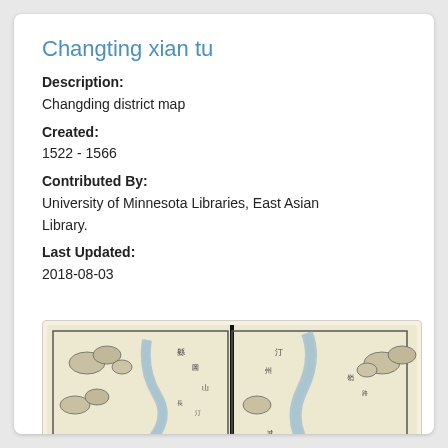Changting xian tu
Description:
Changding district map
Created:
1522 - 1566
Contributed By:
University of Minnesota Libraries, East Asian Library.
Last Updated:
2018-08-03
[Figure (map): Two-page spread of a historical Chinese district map (Changting xian tu), showing mountains, a river, and Chinese characters, printed in black ink on cream/tan paper.]